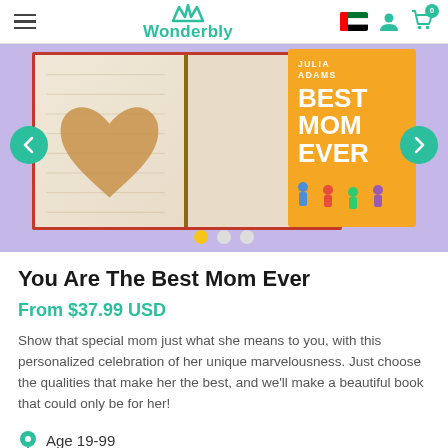Wonderbly
[Figure (photo): Carousel showing open book with heart-shaped map illustration and orange book cover titled 'Best Mom Ever' by Julia Adams, on purple background. Navigation arrows and dot indicators visible.]
You Are The Best Mom Ever
From $37.99 USD
Show that special mom just what she means to you, with this personalized celebration of her unique marvelousness. Just choose the qualities that make her the best, and we'll make a beautiful book that could only be for her!
Age 19-99